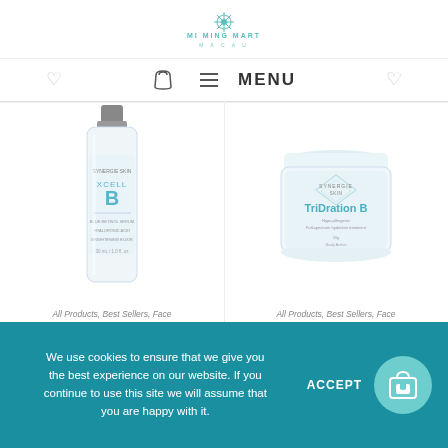[Figure (logo): Mi Ming Mart logo with teal flower icon and text]
[Figure (screenshot): Navigation bar with shopping bag icon, hamburger menu icon and MENU text]
[Figure (photo): SYNERGIE SKIN XCELL B serum product bottle - tall clear bottle with blue label]
All Products, Best Sellers, Face Care, Moisturizing, Promotion, Serum
SYNERGIE SKIN XCELL B
[Figure (photo): SYNERGIE SKIN TriDration B moisturizer product - round jar with blue/white geometric label]
All Products, Best Sellers, Face Care, Mask, Moisturizing, Promotion, 프로모션
SYNERGIE SKIN TriDration B
We use cookies to ensure that we give you the best experience on our website. If you continue to use this site we will assume that you are happy with it.